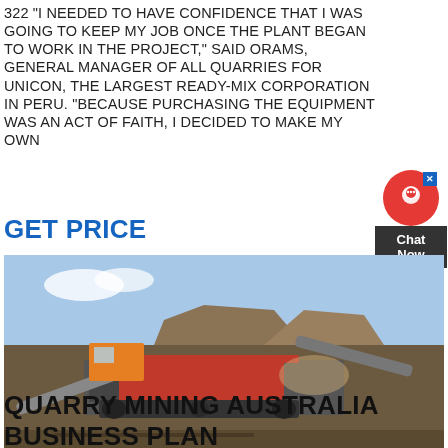322 "I NEEDED TO HAVE CONFIDENCE THAT I WAS GOING TO KEEP MY JOB ONCE THE PLANT BEGAN TO WORK IN THE PROJECT," SAID ORAMS, GENERAL MANAGER OF ALL QUARRIES FOR UNICON, THE LARGEST READY-MIX CORPORATION IN PERU. "BECAUSE PURCHASING THE EQUIPMENT WAS AN ACT OF FAITH, I DECIDED TO MAKE MY OWN
GET PRICE
[Figure (photo): Outdoor photo of a large industrial quarry mining machine (crusher/screener) on a dusty open site. The machine is red and grey with conveyor belts. A construction vehicle is visible in the background. Piles of aggregate/gravel are visible behind the machine under a blue sky.]
QUARRY MINING AUSTRALIA BUSINESS PLAN